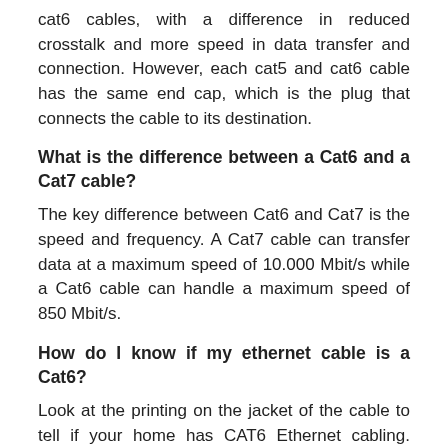cat6 cables, with a difference in reduced crosstalk and more speed in data transfer and connection. However, each cat5 and cat6 cable has the same end cap, which is the plug that connects the cable to its destination.
What is the difference between a Cat6 and a Cat7 cable?
The key difference between Cat6 and Cat7 is the speed and frequency. A Cat7 cable can transfer data at a maximum speed of 10.000 Mbit/s while a Cat6 cable can handle a maximum speed of 850 Mbit/s.
How do I know if my ethernet cable is a Cat6?
Look at the printing on the jacket of the cable to tell if your home has CAT6 Ethernet cabling. Every Ethernet cable is labeled with the category with which it is designed to work. Oftentimes, it is hidden inside the wall.